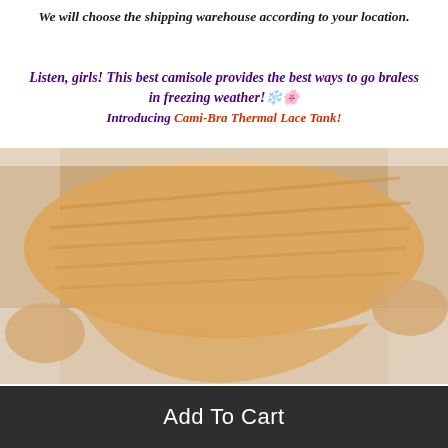We will choose the shipping warehouse according to your location.
Listen, girls! This best camisole provides the best ways to go braless in freezing weather!❄️ Introducing Cami-Bra Thermal Lace Tank!
[Figure (photo): Hands stretching a tan/peach-colored thermal fabric camisole tank top against a white background.]
Add To Cart